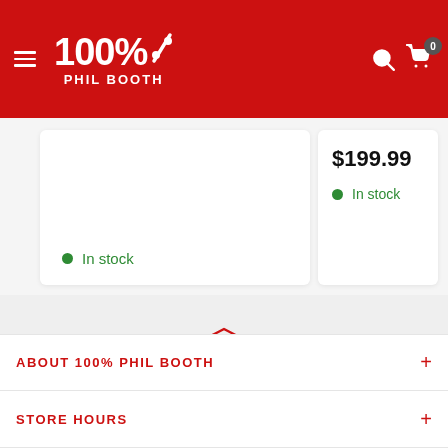[Figure (screenshot): 100% Phil Booth e-commerce website header with red background, hamburger menu, logo, search icon, and cart icon with badge showing 0]
In stock
$199.99
In stock
[Figure (illustration): Red outline box/package delivery icon]
Home Delivery New Zealand wide
[Figure (infographic): Carousel dots: one red active dot followed by three grey inactive dots]
ABOUT 100% PHIL BOOTH
STORE HOURS